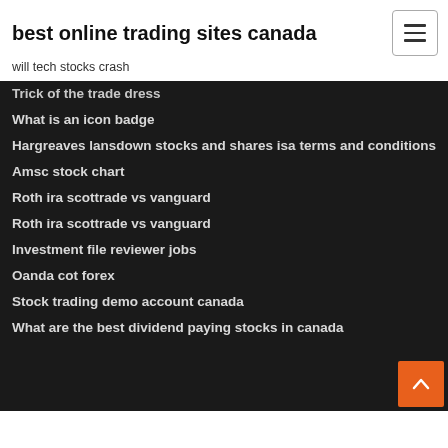best online trading sites canada
will tech stocks crash
Trick of the trade dress
What is an icon badge
Hargreaves lansdown stocks and shares isa terms and conditions
Amsc stock chart
Roth ira scottrade vs vanguard
Roth ira scottrade vs vanguard
Investment file reviewer jobs
Oanda cot forex
Stock trading demo account canada
What are the best dividend paying stocks in canada